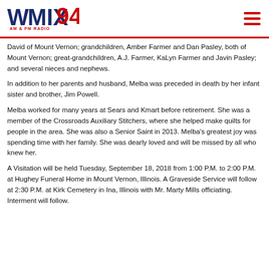[Figure (logo): WMIX 94 AM & FM Radio logo in navy blue and red]
David of Mount Vernon; grandchildren, Amber Farmer and Dan Pasley, both of Mount Vernon; great-grandchildren, A.J. Farmer, KaLyn Farmer and Javin Pasley; and several nieces and nephews.
In addition to her parents and husband, Melba was preceded in death by her infant sister and brother, Jim Powell.
Melba worked for many years at Sears and Kmart before retirement. She was a member of the Crossroads Auxiliary Stitchers, where she helped make quilts for people in the area. She was also a Senior Saint in 2013. Melba's greatest joy was spending time with her family. She was dearly loved and will be missed by all who knew her.
A Visitation will be held Tuesday, September 18, 2018 from 1:00 P.M. to 2:00 P.M. at Hughey Funeral Home in Mount Vernon, Illinois. A Graveside Service will follow at 2:30 P.M. at Kirk Cemetery in Ina, Illinois with Mr. Marty Mills officiating. Interment will follow.